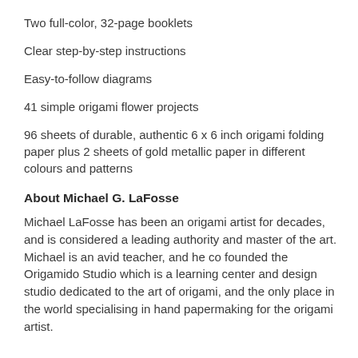Two full-color, 32-page booklets
Clear step-by-step instructions
Easy-to-follow diagrams
41 simple origami flower projects
96 sheets of durable, authentic 6 x 6 inch origami folding paper plus 2 sheets of gold metallic paper in different colours and patterns
About Michael G. LaFosse
Michael LaFosse has been an origami artist for decades, and is considered a leading authority and master of the art. Michael is an avid teacher, and he co founded the Origamido Studio which is a learning center and design studio dedicated to the art of origami, and the only place in the world specialising in hand papermaking for the origami artist.